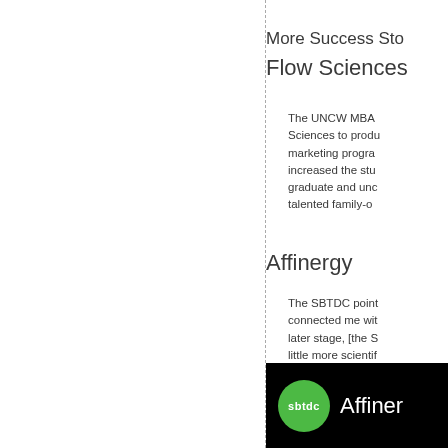More Success Sto
Flow Sciences
The UNCW MBA Sciences to produ marketing progra increased the stu graduate and unc talented family-o
Affinergy
The SBTDC point connected me wit later stage, [the S little more scientif
[Figure (logo): SBTDC logo with green circle and 'sbtdc' text next to 'Affiner' text on black background]